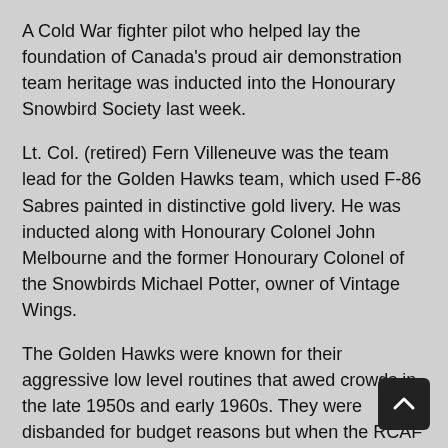A Cold War fighter pilot who helped lay the foundation of Canada's proud air demonstration team heritage was inducted into the Honourary Snowbird Society last week.
Lt. Col. (retired) Fern Villeneuve was the team lead for the Golden Hawks team, which used F-86 Sabres painted in distinctive gold livery. He was inducted along with Honourary Colonel John Melbourne and the former Honourary Colonel of the Snowbirds Michael Potter, owner of Vintage Wings.
The Golden Hawks were known for their aggressive low level routines that awed crowds in the late 1950s and early 1960s. They were disbanded for budget reasons but when the RCAF acquired the cheaper-to-run Tutors the momentum was still there to create a demo team.
Villeneuve was team lead for the first two seasons of the Golden Hawks but had to leave the team after he got married because the rules at the time stated that married pilots could only do two seasons with the team.